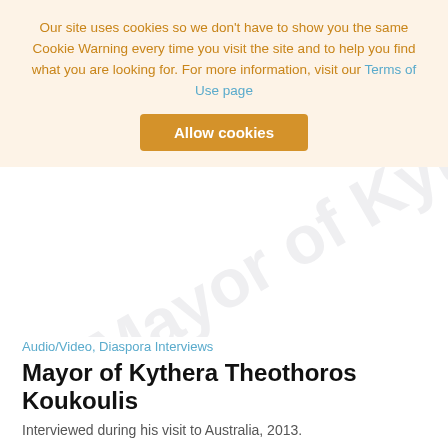Our site uses cookies so we don't have to show you the same Cookie Warning every time you visit the site and to help you find what you are looking for. For more information, visit our Terms of Use page
Allow cookies
[Figure (other): Watermark text 'Mayor of Kyt...' displayed diagonally across white background]
Audio/Video, Diaspora Interviews
Mayor of Kythera Theothoros Koukoulis
Interviewed during his visit to Australia, 2013.
[Figure (other): Watermark text 'r Austi...' displayed diagonally across white background at bottom of page]